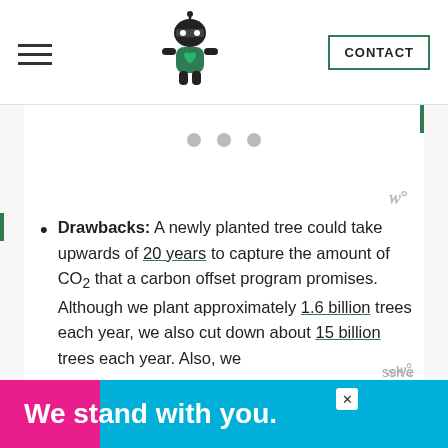Navigation bar with hamburger menu, ninja mascot logo, and CONTACT button
[Figure (illustration): Three gray carousel indicator dots centered in white card area]
Drawbacks: A newly planted tree could take upwards of 20 years to capture the amount of CO2 that a carbon offset program promises. Although we plant approximately 1.6 billion trees each year, we also cut down about 15 billion trees each year. Also, we
[Figure (screenshot): Ad banner at bottom reading 'We stand with you.' in white bold text on pink and blue background with close button]